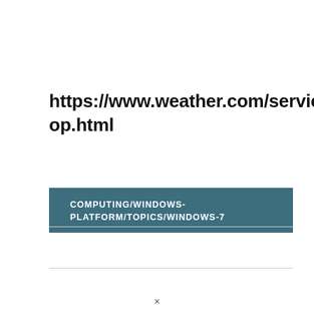https://www.weather.com/services/desktop.html
COMPUTING/WINDOWS-PLATFORM/TOPICS/WINDOWS-7
×